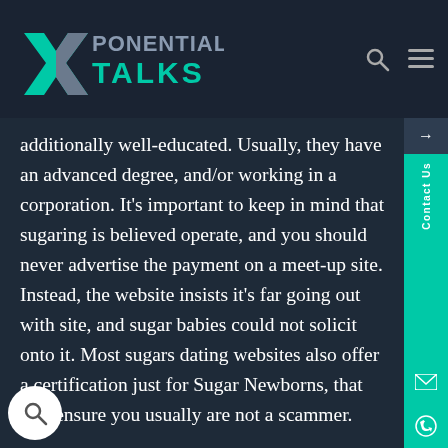XPONENTIAL TALKS
additionally well-educated. Usually, they have an advanced degree, and/or working in a corporation. It's important to keep in mind that sugaring is believed operate, and you should never advertise the payment on a meet-up site. Instead, the website insists it's far going out with site, and sugar babies could not solicit onto it. Most sugars dating websites also offer a certification just for Sugar Newborns, that will ensure you usually are not a scammer.
Nationwide, most Sugar Daddys are teen businessmen and can provide financial support to a battling girl. t they may be several in appearance, they all write